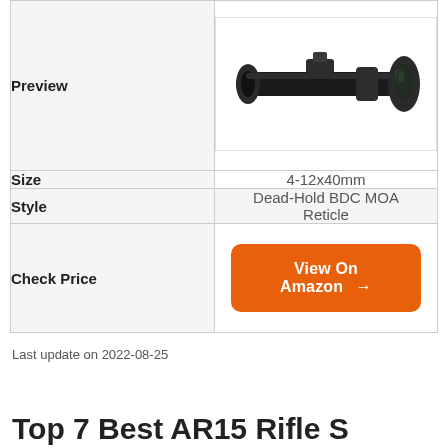|  |  |
| --- | --- |
| Preview | [rifle scope image] |
| Size | 4-12x40mm |
| Style | Dead-Hold BDC MOA Reticle |
| Check Price | View On Amazon → |
Last update on 2022-08-25
Top 7 Best AR15 Rifle S...